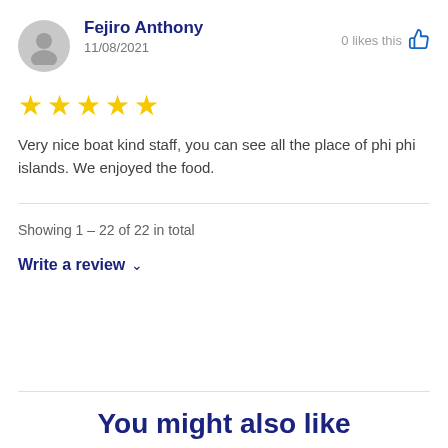Fejiro Anthony
11/08/2021
0 likes this
[Figure (other): Five yellow star rating]
Very nice boat kind staff, you can see all the place of phi phi islands. We enjoyed the food.
Showing 1 – 22 of 22 in total
Write a review ∨
You might also like